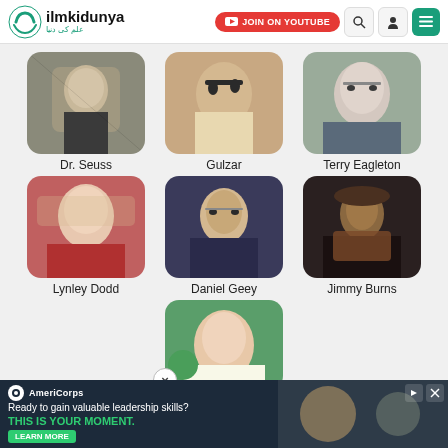ilmkidunya - JOIN ON YOUTUBE
[Figure (photo): Black and white photo of Dr. Seuss]
Dr. Seuss
[Figure (photo): Color photo of Gulzar with glasses]
Gulzar
[Figure (photo): Photo of Terry Eagleton, elderly man]
Terry Eagleton
[Figure (photo): Photo of Lynley Dodd, older woman in red]
Lynley Dodd
[Figure (photo): Photo of Daniel Geey in dark sweater]
Daniel Geey
[Figure (photo): Photo of Jimmy Burns with guitar]
Jimmy Burns
[Figure (photo): Partial photo of a woman with green background]
AmeriCorps - Ready to gain valuable leadership skills? THIS IS YOUR MOMENT. LEARN MORE